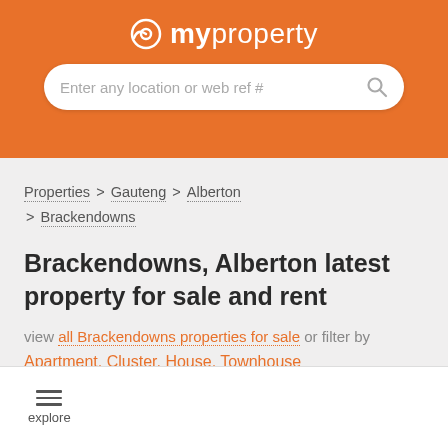[Figure (logo): myproperty logo with circular icon on orange background header]
Enter any location or web ref #
Properties > Gauteng > Alberton > Brackendowns
Brackendowns, Alberton latest property for sale and rent
view all Brackendowns properties for sale or filter by
Apartment, Cluster, House, Townhouse
explore